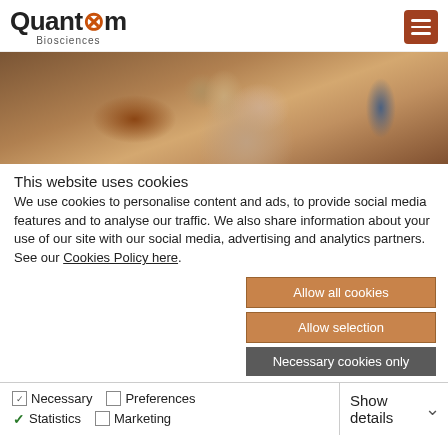Quantoom Biosciences
[Figure (photo): Close-up photo of a young Asian child's face with dark hair, warm-toned background]
This website uses cookies
We use cookies to personalise content and ads, to provide social media features and to analyse our traffic. We also share information about your use of our site with our social media, advertising and analytics partners. See our Cookies Policy here.
Allow all cookies
Allow selection
Necessary cookies only
Necessary  Preferences  Statistics  Marketing  Show details